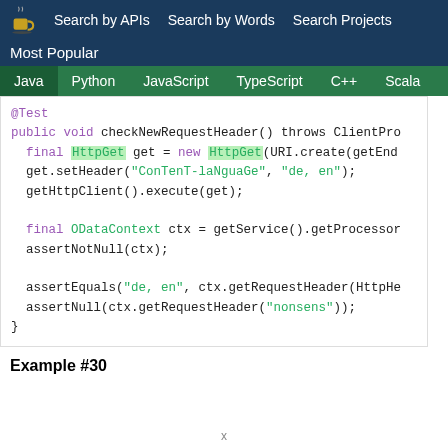Search by APIs  Search by Words  Search Projects  Most Popular
Java  Python  JavaScript  TypeScript  C++  Scala
[Figure (screenshot): Java code snippet showing checkNewRequestHeader test method with HttpGet, setHeader, getHttpClient, ODataContext, assertNotNull, assertEquals, assertNull calls]
Example #30